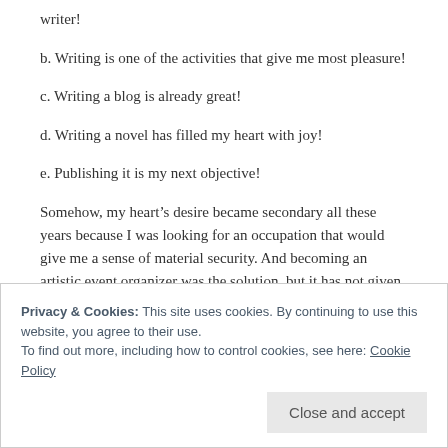writer!
b. Writing is one of the activities that give me most pleasure!
c. Writing a blog is already great!
d. Writing a novel has filled my heart with joy!
e. Publishing it is my next objective!
Somehow, my heart’s desire became secondary all these years because I was looking for an occupation that would give me a sense of material security. And becoming an artistic event organizer was the solution, but it has not given me the material security I was hoping for.
Privacy & Cookies: This site uses cookies. By continuing to use this website, you agree to their use. To find out more, including how to control cookies, see here: Cookie Policy
Don’t get me wrong September, I enjoy what I do. And getting